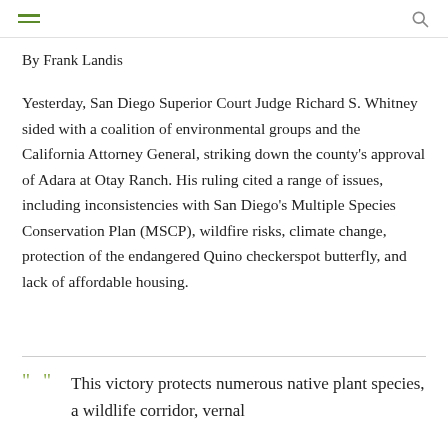[hamburger menu icon] [search icon]
By Frank Landis
Yesterday, San Diego Superior Court Judge Richard S. Whitney sided with a coalition of environmental groups and the California Attorney General, striking down the county's approval of Adara at Otay Ranch. His ruling cited a range of issues, including inconsistencies with San Diego's Multiple Species Conservation Plan (MSCP), wildfire risks, climate change, protection of the endangered Quino checkerspot butterfly, and lack of affordable housing.
This victory protects numerous native plant species, a wildlife corridor, vernal